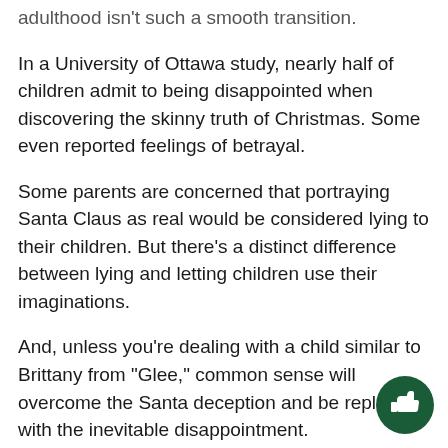adulthood isn't such a smooth transition.
In a University of Ottawa study, nearly half of children admit to being disappointed when discovering the skinny truth of Christmas. Some even reported feelings of betrayal.
Some parents are concerned that portraying Santa Claus as real would be considered lying to their children. But there's a distinct difference between lying and letting children use their imaginations.
And, unless you're dealing with a child similar to Brittany from “Glee,” common sense will overcome the Santa deception and be replaced with the inevitable disappointment.
The bitterness does not last forever, though, and it makes for great memories. Most people rememb the story of how they found out about the jolly old